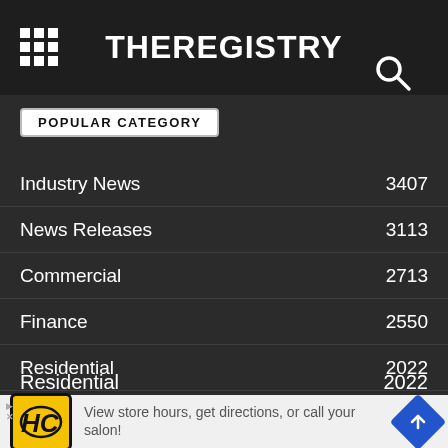THEREGISTRY
POPULAR CATEGORY
Industry News 3407
News Releases 3113
Commercial 2713
Finance 2550
Residential 2022
AEC 1743
People on the Move 777
[Figure (other): Advertisement banner: HC logo, text 'View store hours, get directions, or call your salon!' with navigation arrow icon]